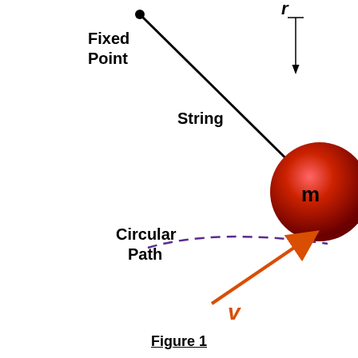[Figure (engineering-diagram): Circular motion diagram showing a fixed point connected by a string to a red sphere labeled 'm'. The radius 'r' is indicated by a vertical arrow on the right. A dashed purple arc represents the circular path. An orange arrow labeled 'v' points down-left showing velocity direction. Text labels: Fixed Point, String, Circular Path, v, m, r.]
Figure 1